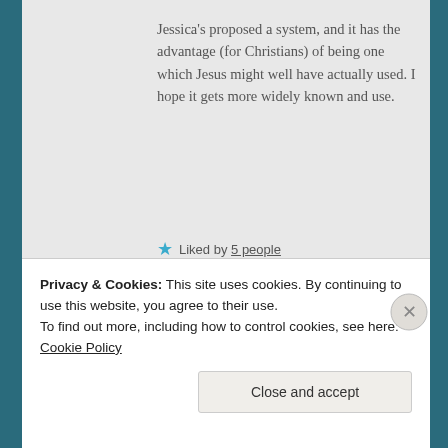Jessica's proposed a system, and it has the advantage (for Christians) of being one which Jesus might well have actually used. I hope it gets more widely known and use.
★ Liked by 5 people
tenthousandplaces says: April 5, 2015 at 9:58 am
Pocket Naomi, love the
Privacy & Cookies: This site uses cookies. By continuing to use this website, you agree to their use.
To find out more, including how to control cookies, see here: Cookie Policy
Close and accept